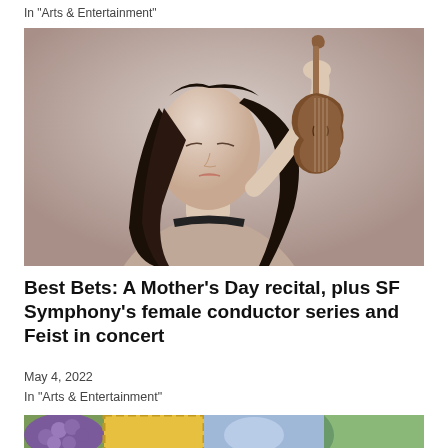In "Arts & Entertainment"
[Figure (photo): Woman with long dark hair holding a violin upward, examining it against a grey background]
Best Bets: A Mother's Day recital, plus SF Symphony's female conductor series and Feist in concert
May 4, 2022
In "Arts & Entertainment"
[Figure (photo): Colorful painting detail showing grapes, fruit, and geometric shapes in bright colors]